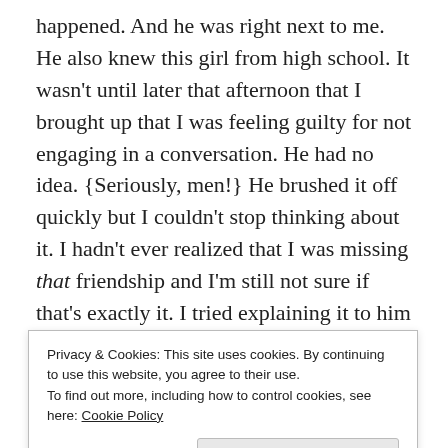happened. And he was right next to me. He also knew this girl from high school. It wasn't until later that afternoon that I brought up that I was feeling guilty for not engaging in a conversation. He had no idea. {Seriously, men!} He brushed it off quickly but I couldn't stop thinking about it. I hadn't ever realized that I was missing that friendship and I'm still not sure if that's exactly it. I tried explaining it to him but he couldn't relate. All of my friendships have ended for a reason. Only the things from the past couple of years linger in my head. If you go back more than a couple, I couldn't tell you why we our friendships ended. I can only tell you that it mattered at the time. In this situation, I feel weird because I
Privacy & Cookies: This site uses cookies. By continuing to use this website, you agree to their use.
To find out more, including how to control cookies, see here: Cookie Policy

Close and accept
teenage years and think that girl had the slightest clue about